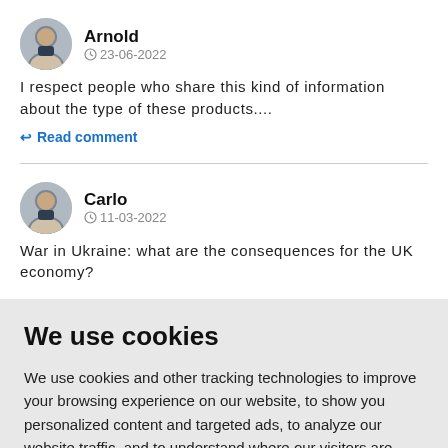[Figure (photo): Avatar photo of Arnold, a man in a suit with gray background]
Arnold
23-06-2022
I respect people who share this kind of information about the type of these products....
↩ Read comment
[Figure (photo): Avatar photo of Carlo, a man in a suit with gray background]
Carlo
11-03-2022
War in Ukraine: what are the consequences for the UK economy?
We use cookies
We use cookies and other tracking technologies to improve your browsing experience on our website, to show you personalized content and targeted ads, to analyze our website traffic, and to understand where our visitors are coming from.